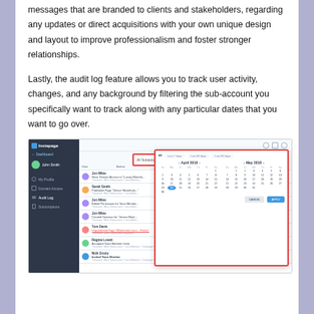messages that are branded to clients and stakeholders, regarding any updates or direct acquisitions with your own unique design and layout to improve professionalism and foster stronger relationships.
Lastly, the audit log feature allows you to track user activity, changes, and any background by filtering the sub-account you specifically want to track along with any particular dates that you want to go over.
[Figure (screenshot): Screenshot of Instapage audit log interface showing a sidebar with navigation items (Dashboard, My Profile, Domain Access, Audit Log, Subscriptions), a main area with an 'All Subaccounts' dropdown highlighted in red, a list of audit log entries with user avatars and action descriptions, and a calendar date picker overlay highlighted in red showing April 2018 and May 2018 months.]